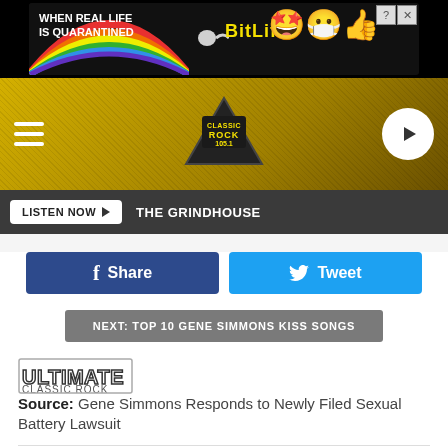[Figure (screenshot): BitLife advertisement banner with rainbow graphic, text 'WHEN REAL LIFE IS QUARANTINED' and 'BitLife' logo with emoji mascot, close button]
[Figure (screenshot): Classic Rock 105.1 radio station navigation bar with hamburger menu, station logo, yellow/black grunge background, and play button]
LISTEN NOW  THE GRINDHOUSE
Share  Tweet
NEXT: TOP 10 GENE SIMMONS KISS SONGS
Source: Gene Simmons Responds to Newly Filed Sexual Battery Lawsuit
Filed Under: gene simmons, kiss
Categories: Music News
Comments  LEAVE A COMMENT